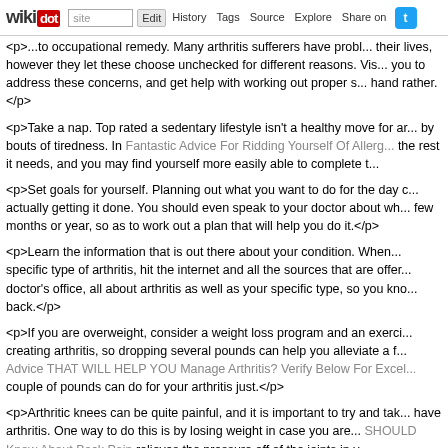wikidot | site | Edit | History | Tags | Source | Explore | Share on [Twitter]
<p>...to occupational remedy. Many arthritis sufferers have problems in their lives, however they let these choose unchecked for different reasons. Visiting you to address these concerns, and get help with working out proper s... hand rather.</p>
<p>Take a nap. Top rated a sedentary lifestyle isn't a healthy move for ar... by bouts of tiredness. In Fantastic Advice For Ridding Yourself Of Allerg... the rest it needs, and you may find yourself more easily able to complete t...</p>
<p>Set goals for yourself. Planning out what you want to do for the day c... actually getting it done. You should even speak to your doctor about wh... few months or year, so as to work out a plan that will help you do it.</p>
<p>Learn the information that is out there about your condition. When... specific type of arthritis, hit the internet and all the sources that are offer... doctor's office, all about arthritis as well as your specific type, so you kno... back.</p>
<p>If you are overweight, consider a weight loss program and an exerci... creating arthritis, so dropping several pounds can help you alleviate a f... Advice THAT WILL HELP YOU Manage Arthritis? Verify Below For Excel... couple of pounds can do for your arthritis just.</p>
<p>Arthritic knees can be quite painful, and it is important to try and tak... have arthritis. One way to do this is by losing weight in case you are... SHOULD Know About Back Pain relieves the pressure off of the joints in y...</p>
<p>If you suffer from severe arthritis discomfort consider acupuncture. A... to acupuncture helping with the symptoms of arthritis, many people do sa... Skeptics believe acupuncture is a placebo, but there isn't a downside to...</p>